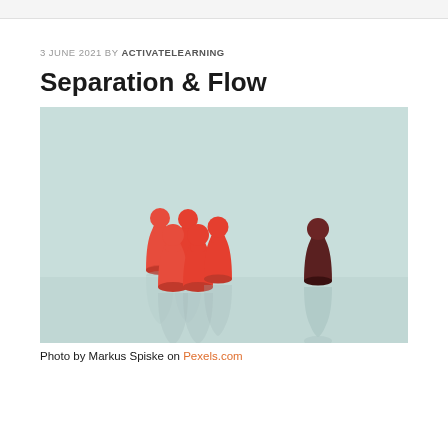3 JUNE 2021 BY ACTIVATELEARNING
Separation & Flow
[Figure (photo): A light teal/mint background with five red game pawns grouped on the left side and one dark brown/maroon pawn standing alone on the right side, each with a reflection beneath them.]
Photo by Markus Spiske on Pexels.com